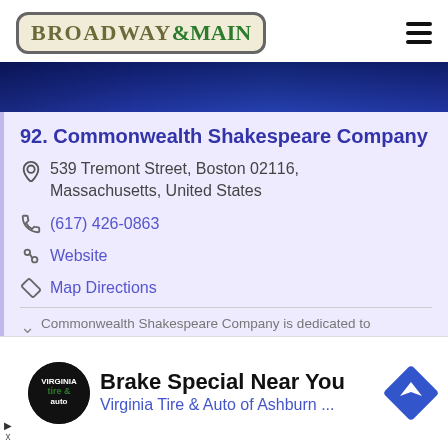[Figure (logo): Broadway & Main logo in decorative bordered box]
[Figure (photo): Blue-lit architectural photo strip]
92. Commonwealth Shakespeare Company
539 Tremont Street, Boston 02116, Massachusetts, United States
(617) 426-0863
Website
Map Directions
Commonwealth Shakespeare Company is dedicated to
rming the works of William Shakespeare in vital and
[Figure (infographic): Advertisement: Brake Special Near You - Virginia Tire & Auto of Ashburn with logo and nav icon]